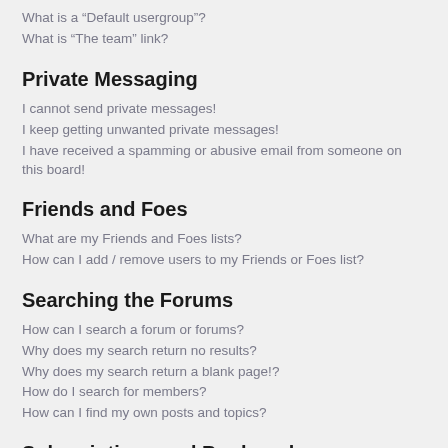What is a “Default usergroup”?
What is “The team” link?
Private Messaging
I cannot send private messages!
I keep getting unwanted private messages!
I have received a spamming or abusive email from someone on this board!
Friends and Foes
What are my Friends and Foes lists?
How can I add / remove users to my Friends or Foes list?
Searching the Forums
How can I search a forum or forums?
Why does my search return no results?
Why does my search return a blank page!?
How do I search for members?
How can I find my own posts and topics?
Subscriptions and Bookmarks
What is the difference between bookmarking and subscribing?